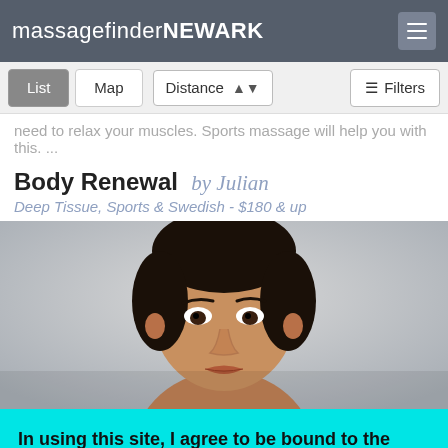massagefinder NEWARK
need to relax your muscles. Sports massage will help you with this. ...
Body Renewal by Julian
Deep Tissue, Sports & Swedish - $180 & up
[Figure (photo): Portrait photo of a young man with short dark hair against a light gray background]
In using this site, I agree to be bound to the Terms of Service and Privacy Policy.
Leave   I agree